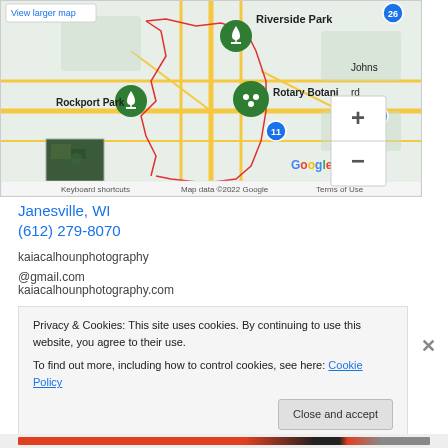[Figure (map): Google Maps screenshot showing Janesville, WI area with Riverside Park, Rockport Park, Rotary Botanical Garden marked with green pins, roads in yellow/orange, zoom controls (+/-), satellite thumbnail, Google logo, and bottom bar showing 'Keyboard shortcuts', 'Map data ©2022 Google', 'Terms of Use'. 'View larger map' link at top left.]
Janesville, WI
(612) 279-8070
kaiacalhounphotography
@gmail.com
kaiacalhounphotography.com
Privacy & Cookies: This site uses cookies. By continuing to use this website, you agree to their use.
To find out more, including how to control cookies, see here: Cookie Policy
Close and accept